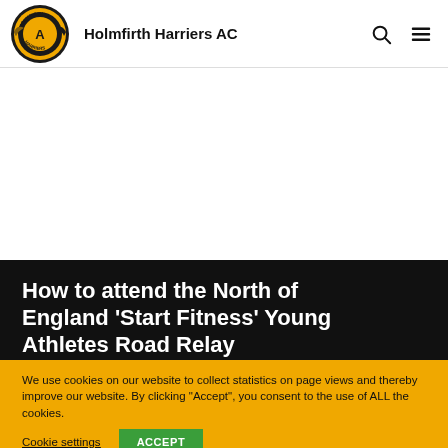Holmfirth Harriers AC
How to attend the North of England 'Start Fitness' Young Athletes Road Relay
We use cookies on our website to collect statistics on page views and thereby improve our website. By clicking "Accept", you consent to the use of ALL the cookies.
Cookie settings
ACCEPT